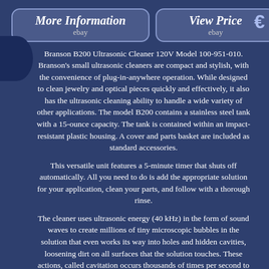[Figure (other): Two eBay-style rounded rectangle buttons: 'More Information ebay' and 'View Price ebay', on dark blue background]
Branson B200 Ultrasonic Cleaner 120V Model 100-951-010. Branson's small ultrasonic cleaners are compact and stylish, with the convenience of plug-in-anywhere operation. While designed to clean jewelry and optical pieces quickly and effectively, it also has the ultrasonic cleaning ability to handle a wide variety of other applications. The model B200 contains a stainless steel tank with a 15-ounce capacity. The tank is contained within an impact-resistant plastic housing. A cover and parts basket are included as standard accessories.
This versatile unit features a 5-minute timer that shuts off automatically. All you need to do is add the appropriate solution for your application, clean your parts, and follow with a thorough rinse.
The cleaner uses ultrasonic energy (40 kHz) in the form of sound waves to create millions of tiny microscopic bubbles in the solution that even works its way into holes and hidden cavities, loosening dirt on all surfaces that the solution touches. These actions, called cavitation occurs thousands of times per second to gently yet thoroughly